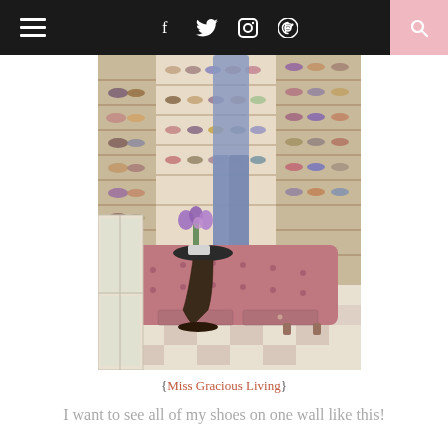Navigation bar with hamburger menu, social icons (f, Twitter, Instagram, Pinterest), and search button
[Figure (photo): A luxurious walk-in closet with floor-to-ceiling shoe shelves on multiple walls filled with shoes. A pink tufted chaise lounge/bench with storage drawers sits in the center on a checkered floor. A pair of jeans hangs on a rack, and purple flowers sit on a side table next to the chaise.]
{Miss Gracious Living}
I want to see all of my shoes on one wall like this!